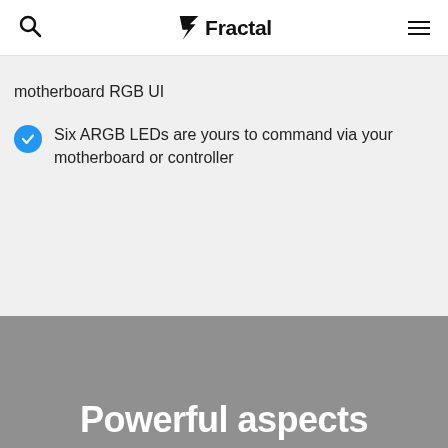Fractal
motherboard RGB UI
Six ARGB LEDs are yours to command via your motherboard or controller
[Figure (photo): Grey background image section for product photography]
Powerful aspects